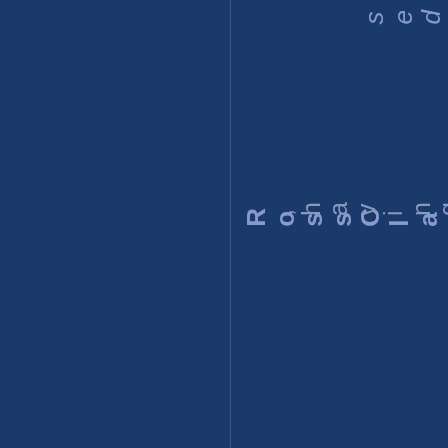sedit.
RossClark, having fun at the